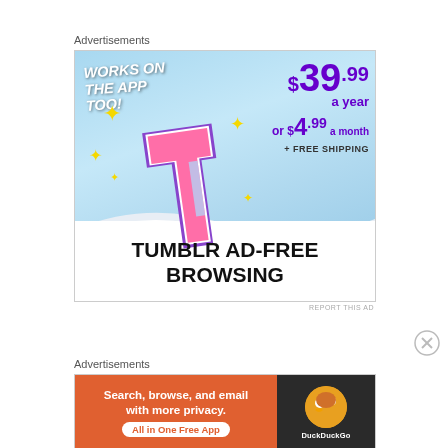Advertisements
[Figure (illustration): Tumblr Ad-Free Browsing advertisement. Features the Tumblr 't' logo with sparkle stars on a sky-blue background. Text reads: WORKS ON THE APP TOO!, $39.99 a year or $4.99 a month + FREE SHIPPING. Bottom section reads: TUMBLR AD-FREE BROWSING.]
REPORT THIS AD
Advertisements
[Figure (illustration): DuckDuckGo advertisement. Left orange section: Search, browse, and email with more privacy. All in One Free App. Right dark section: DuckDuckGo logo (duck icon) with DuckDuckGo brand name.]
REPORT THIS AD